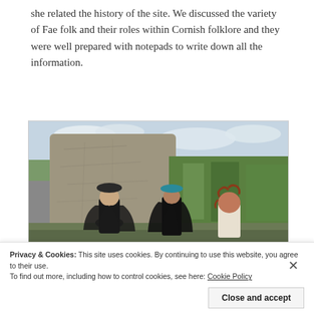she related the history of the site. We discussed the variety of Fae folk and their roles within Cornish folklore and they were well prepared with notepads to write down all the information.
[Figure (photo): Outdoor photo showing people in dark clothing and hats standing near a large stone/rock formation on moorland with green vegetation in the background under a cloudy sky.]
Privacy & Cookies: This site uses cookies. By continuing to use this website, you agree to their use.
To find out more, including how to control cookies, see here: Cookie Policy
Close and accept